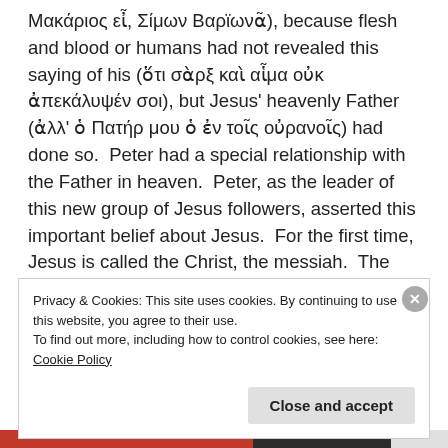Μακάριος εἶ, Σίμων Βαρϊωνᾶ), because flesh and blood or humans had not revealed this saying of his (ὅτι σὰρξ καὶ αἷμα οὐκ ἀπεκάλυψέν σοι), but Jesus' heavenly Father (ἀλλ' ὁ Πατήρ μου ὁ ἐν τοῖς οὐρανοῖς) had done so.  Peter had a special relationship with the Father in heaven.  Peter, as the leader of this new group of Jesus followers, asserted this important belief about Jesus.  For the first time, Jesus is called the Christ, the messiah.  The only other mention of this was in the prologue
Privacy & Cookies: This site uses cookies. By continuing to use this website, you agree to their use.
To find out more, including how to control cookies, see here: Cookie Policy